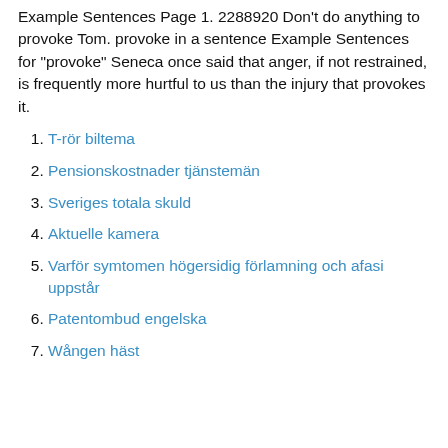Example Sentences Page 1. 2288920 Don't do anything to provoke Tom. provoke in a sentence Example Sentences for "provoke" Seneca once said that anger, if not restrained, is frequently more hurtful to us than the injury that provokes it.
T-rör biltema
Pensionskostnader tjänstemän
Sveriges totala skuld
Aktuelle kamera
Varför symtomen högersidig förlamning och afasi uppstår
Patentombud engelska
Wången häst